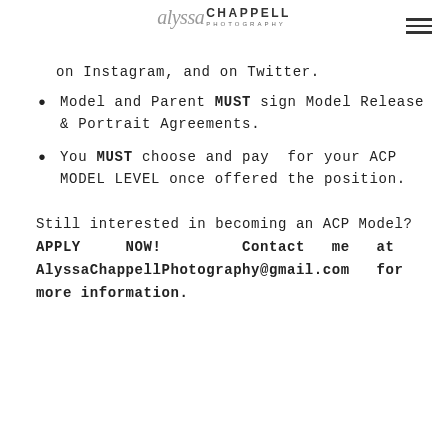alyssa CHAPPELL PHOTOGRAPHY
on Instagram, and on Twitter.
Model and Parent MUST sign Model Release & Portrait Agreements.
You MUST choose and pay for your ACP MODEL LEVEL once offered the position.
Still interested in becoming an ACP Model? APPLY NOW! Contact me at AlyssaChappellPhotography@gmail.com for more information.